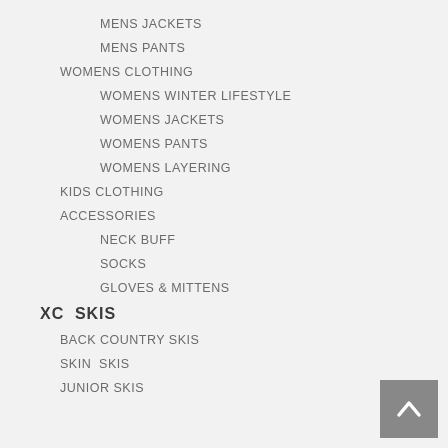MENS JACKETS
MENS PANTS
WOMENS CLOTHING
WOMENS WINTER LIFESTYLE
WOMENS JACKETS
WOMENS PANTS
WOMENS LAYERING
KIDS CLOTHING
ACCESSORIES
NECK BUFF
SOCKS
GLOVES & MITTENS
XC  SKIS
BACK COUNTRY SKIS
SKIN  SKIS
JUNIOR SKIS